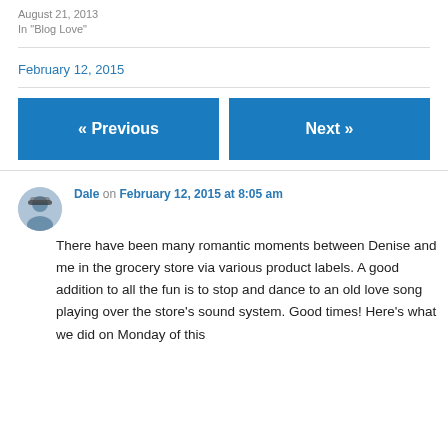August 21, 2013
In "Blog Love"
February 12, 2015
« Previous
Next »
Dale on February 12, 2015 at 8:05 am
There have been many romantic moments between Denise and me in the grocery store via various product labels. A good addition to all the fun is to stop and dance to an old love song playing over the store's sound system. Good times! Here's what we did on Monday of this